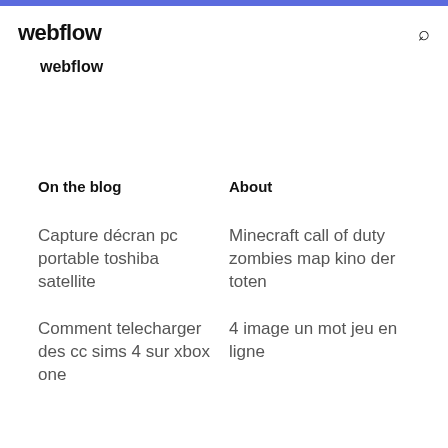webflow
webflow
On the blog
About
Capture décran pc portable toshiba satellite
Minecraft call of duty zombies map kino der toten
Comment telecharger des cc sims 4 sur xbox one
4 image un mot jeu en ligne